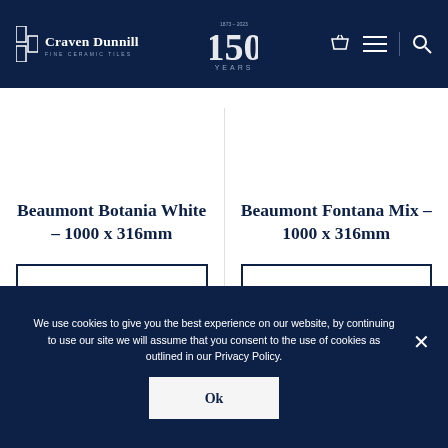Craven Dunnill Fine Ceramic Tiles — Navigation header with 150 Years anniversary logo, basket, menu, and search icons
Beaumont Botania White – 1000 x 316mm
Read More
Beaumont Fontana Mix – 1000 x 316mm
Read More
We use cookies to give you the best experience on our website, by continuing to use our site we will assume that you consent to the use of cookies as outlined in our Privacy Policy.
Ok